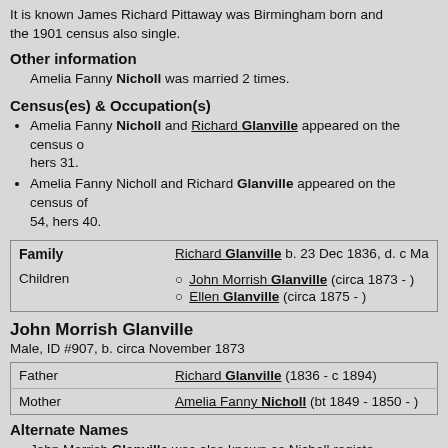It is known James Richard Pittaway was Birmingham born and the 1901 census also single.
Other information
Amelia Fanny Nicholl was married 2 times.
Census(es) & Occupation(s)
Amelia Fanny Nicholl and Richard Glanville appeared on the census o... hers 31.
Amelia Fanny Nicholl and Richard Glanville appeared on the census of... 54, hers 40.
| Family | Richard Glanville b. 23 Dec 1836, d. c Ma... |
| --- | --- |
| Children | John Morrish Glanville (circa 1873 - )
Ellen Glanville (circa 1875 - ) |
John Morrish Glanville
Male, ID #907, b. circa November 1873
| Father | Richard Glanville (1836 - c 1894) |
| Mother | Amelia Fanny Nicholl (bt 1849 - 1850 - ) |
Alternate Names
John Morrish Glanville was also known as Nicholl registe...
Birth, Marriage and Death information